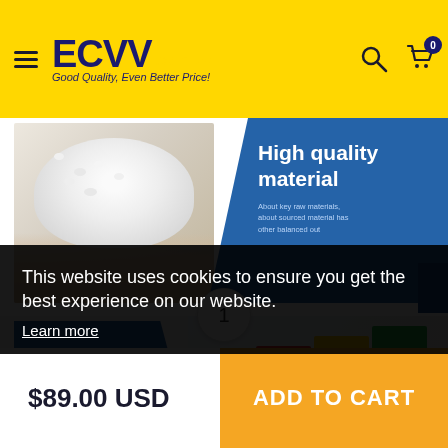ECVV .com.kw — Good Quality, Even Better Price!
[Figure (photo): Product banner showing hands holding white plastic pellets on left, and blue diagonal panel on right with text 'High quality material' and small descriptive text below]
[Figure (photo): Product banner showing blue diagonal panel on left with '02 choice' text and description, and colorful stacked plastic storage containers/crates on right]
This website uses cookies to ensure you get the best experience on our website. Learn more
1
$89.00 USD
ADD TO CART